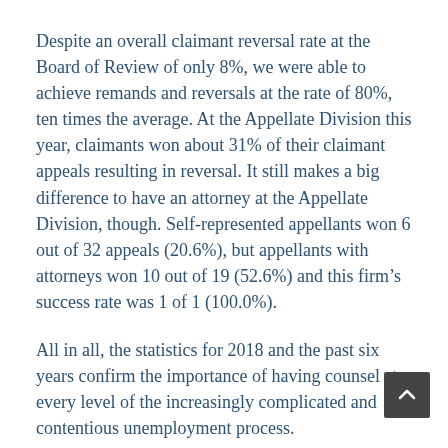Despite an overall claimant reversal rate at the Board of Review of only 8%, we were able to achieve remands and reversals at the rate of 80%, ten times the average. At the Appellate Division this year, claimants won about 31% of their claimant appeals resulting in reversal. It still makes a big difference to have an attorney at the Appellate Division, though. Self-represented appellants won 6 out of 32 appeals (20.6%), but appellants with attorneys won 10 out of 19 (52.6%) and this firm's success rate was 1 of 1 (100.0%).
All in all, the statistics for 2018 and the past six years confirm the importance of having counsel at every level of the increasingly complicated and contentious unemployment process.